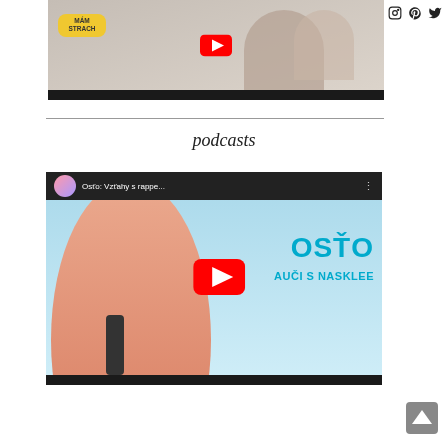[Figure (screenshot): Top video thumbnail showing two women, with a yellow 'MÁM STRACH' badge overlay and a red YouTube play button]
[Figure (screenshot): Social media icons: heart, Facebook, Instagram, Pinterest, Twitter]
podcasts
[Figure (screenshot): YouTube video thumbnail for 'Osťo: Vzťahy s rappe...' podcast episode, showing a man with headphones and microphone, with 'OSŤO AUČI S NASKLEE' text and YouTube play button overlay]